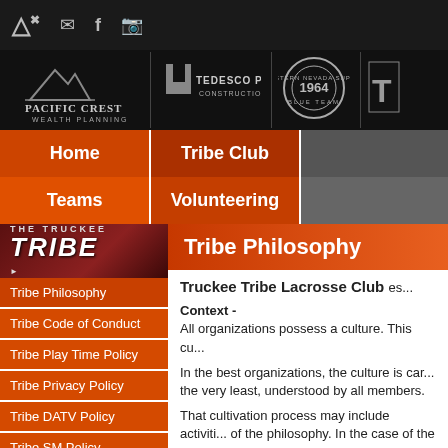Top navigation bar with icons and social media links
[Figure (logo): Sponsor banner with Pacific Crest Wealth Planning logo, Tedesco Pacific Construction Inc logo, Western Nevada Supply Blue Team logo, and partial T G logo]
Navigation: Home | Tribe Club | (right) | Teams | Volunteering | (right)
[Figure (photo): Truckee Tribe lacrosse sidebar image with TRIBE logo text on dark red background]
Tribe Philosophy
Tribe Code of Conduct
Tribe Play Time Policy
Tribe Privacy Policy
Tribe DATV Policy
Tribe SM Policy
Tribe CMP
Tribe Philosophy
Truckee Tribe Lacrosse Club es...
Context -
All organizations possess a culture. This cu...
In the best organizations, the culture is car... the very least, understood by all members.
That cultivation process may include activit... of the philosophy. In the case of the Trucke... personal interpretation, they carry a critical... a coach, a spectator, or a member of you...